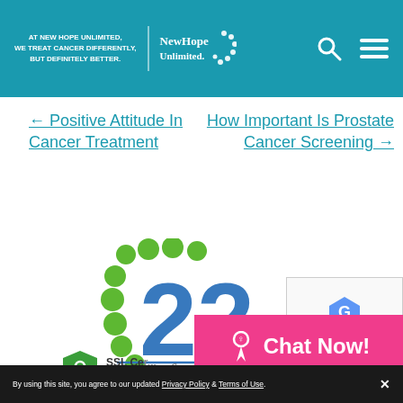[Figure (logo): New Hope Unlimited website header with teal background, tagline 'AT NEW HOPE UNLIMITED, WE TREAT CANCER DIFFERENTLY, BUT DEFINITELY BETTER.', New Hope Unlimited logo with dots, search icon, and hamburger menu icon]
← Positive Attitude In Cancer Treatment
How Important Is Prostate Cancer Screening →
[Figure (logo): 22 Years of providing quality service logo with green dots and blue script text, partially cut off]
[Figure (logo): SSL Certificate Security badge with green shield icon, partially cut off]
[Figure (other): Pink Chat Now button with breast cancer ribbon icon]
[Figure (other): reCAPTCHA widget box with Privacy and Terms links]
By using this site, you agree to our updated Privacy Policy & Terms of Use.